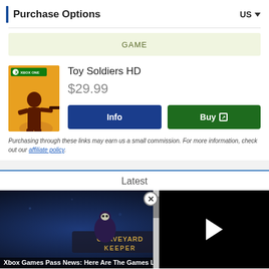Purchase Options   US
GAME
[Figure (illustration): Xbox One game box art for Toy Soldiers HD showing a soldier silhouette on orange background]
Toy Soldiers HD
$29.99
Info
Buy
Purchasing through these links may earn us a small commission. For more information, check out our affiliate policy.
Latest
[Figure (screenshot): Graveyard Keeper game screenshot with dark fantasy art showing skeleton character]
Xbox Games Pass News: Here Are The Games Leaving In